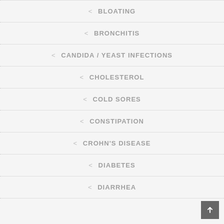< BLOATING
< BRONCHITIS
< CANDIDA / YEAST INFECTIONS
< CHOLESTEROL
< COLD SORES
< CONSTIPATION
< CROHN'S DISEASE
< DIABETES
< DIARRHEA